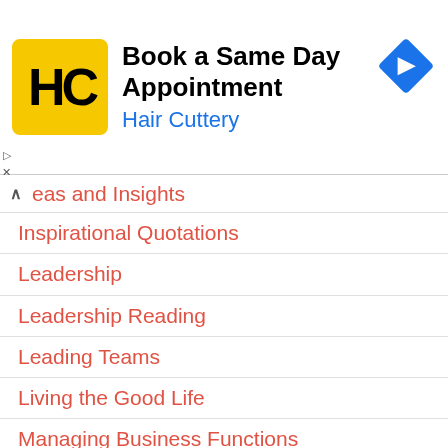[Figure (screenshot): Advertisement banner for Hair Cuttery salon. Shows HC logo in yellow square, title 'Book a Same Day Appointment', subtitle 'Hair Cuttery' in blue, and a blue diamond navigation arrow icon on the right.]
eas and Insights
Inspirational Quotations
Leadership
Leadership Reading
Leading Teams
Living the Good Life
Managing Business Functions
Managing People
MBA in a Nutshell
Mental Models
News Analysis
Personal Finance
Podcasts
Project Management
Proverbs & Maxims